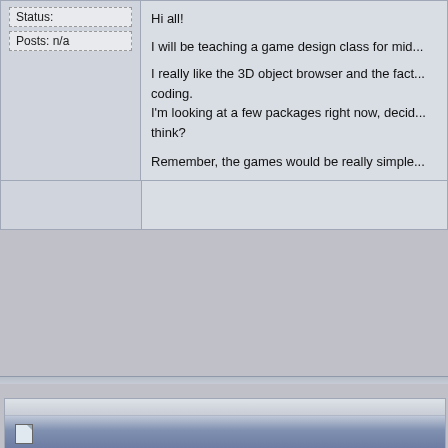Status:
Posts: n/a
Hi all!

I will be teaching a game design class for mid...

I really like the 3D object browser and the fact... coding.
I'm looking at a few packages right now, decid... think?

Remember, the games would be really simple...
DickBaldwin
Guest
Status:
Posts: n/a
11-21-2007, 06:37 AM
Quote:
Originally Posted by Godo
Hi all!

---

Remember, the games would be really si...
Among the students who contribute to this for... able to determine, in order to determine the p... another in short steps instead of executing a m...